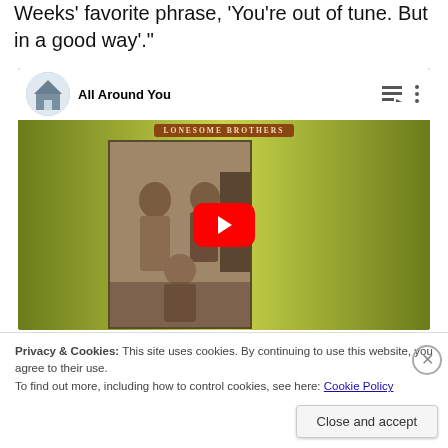Weeks' favorite phrase, 'You're out of tune. But in a good way'."
[Figure (screenshot): YouTube embed showing 'All Around You' video with a band photo album cover (Lonesome Brothers) on an olive/yellow-green background. A red YouTube play button is centered on the thumbnail. The header shows a church building avatar and the video title.]
Privacy & Cookies: This site uses cookies. By continuing to use this website, you agree to their use.
To find out more, including how to control cookies, see here: Cookie Policy